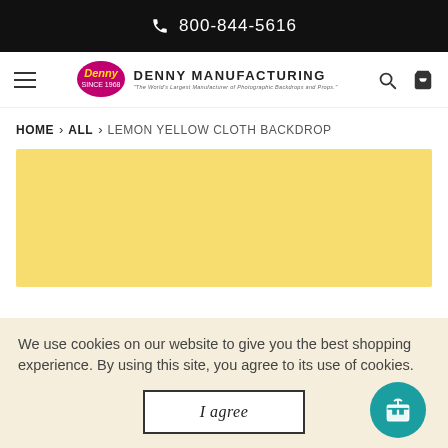800-844-5616
[Figure (logo): Denny Manufacturing logo with pink oval, star, and brand name 'DENNY MANUFACTURING' with tagline 'The World's Largest Manufacturer of Photographic Backdrops and Props.']
HOME > ALL > LEMON YELLOW CLOTH BACKDROP
[Figure (photo): A solid lemon yellow cloth backdrop product image filling a rectangular area.]
We use cookies on our website to give you the best shopping experience. By using this site, you agree to its use of cookies.
I agree